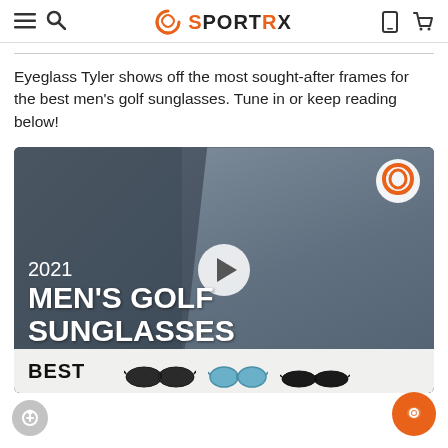SportRx navigation header with hamburger menu, search, logo, phone and cart icons
Eyeglass Tyler shows off the most sought-after frames for the best men’s golf sunglasses. Tune in or keep reading below!
[Figure (screenshot): Video thumbnail showing a man holding sunglasses with text '2021 MEN'S GOLF SUNGLASSES' and a play button overlay, SportRx logo in top-right corner, 'BEST' bar at the bottom with sunglasses displayed]